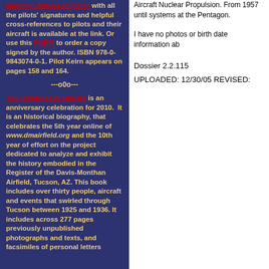Monthan Airfield Register with all the pilots' signatures and helpful cross-references to pilots and their aircraft is available at the link. Or use this FORM to order a copy signed by the author. ISBN 978-0-9843074-0-1. Pilot Keirn appears on pages 158 and 164.
---o0o---
The Congress of Ghosts is an anniversary celebration for 2010.  It is an historical biography, that celebrates the 5th year online of www.dmairfield.org and the 10th year of effort on the project dedicated to analyze and exhibit the history embodied in the Register of the Davis-Monthan Airfield, Tucson, AZ. This book includes over thirty people, aircraft and events that swirled through Tucson between 1925 and 1936. It includes across 277 pages previously unpublished photographs and texts, and facsimiles of personal letters
Aircraft Nuclear Propulsion. From 1957 until systems at the Pentagon.
I have no photos or birth date information ab
Dossier 2.2.115
UPLOADED: 12/30/05 REVISED: